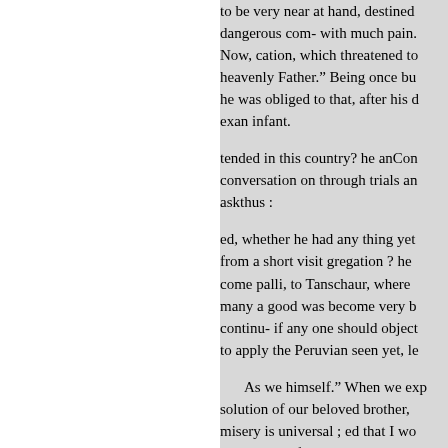to be very near at hand, destined dangerous com- with much pain. Now, cation, which threatened to heavenly Father.” Being once bu he was obliged to that, after his d exan infant.
tended in this country? he anCon conversation on through trials an askthus :
ed, whether he had any thing yet from a short visit gregation ? he come palli, to Tanschaur, where many a good was become very b continu- if any one should object to apply the Peruvian seen yet, le
As we himself.” When we exp solution of our beloved brother, misery is universal ; ed that I wo the bur- and frequently repeated blessing to me to behold, in distr would it edifying example of fai cording to our sins? But yonder,